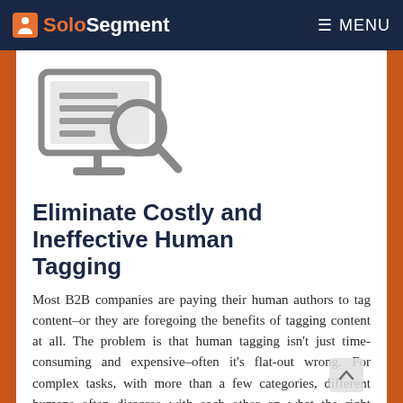SoloSegment  MENU
[Figure (illustration): Gray illustration of a desktop monitor with document lines and a magnifying glass overlaid on screen, on a stand]
Eliminate Costly and Ineffective Human Tagging
Most B2B companies are paying their human authors to tag content–or they are foregoing the benefits of tagging content at all. The problem is that human tagging isn't just time-consuming and expensive–often it's flat-out wrong. For complex tasks, with more than a few categories, different humans often disagree with each other on what the right category is for a web page or